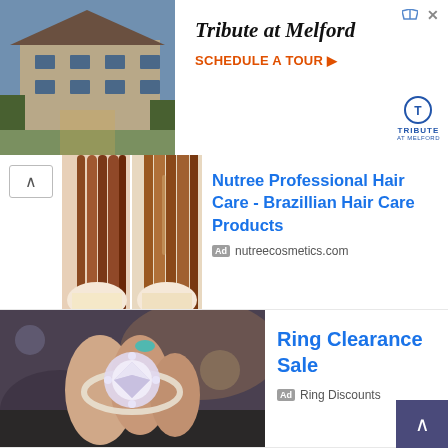[Figure (screenshot): Advertisement banner for 'Tribute at Melford' with building photo, italic title 'Tribute at Melford', orange CTA 'SCHEDULE A TOUR', and Tribute logo]
[Figure (screenshot): Two side-by-side before/after hair photos with navigation arrow, followed by ad for 'Nutree Professional Hair Care - Brazillian Hair Care Products' from nutreecosmetics.com]
[Figure (screenshot): Photo of hand wearing diamond ring, with ad 'Ring Clearance Sale' from Ring Discounts]
[Figure (screenshot): Close-up photo of highlighted hair, partial ad for '#1 Women's Hair Loss Concealer - Only $34.95 Per 30g/1.06oz' from febron.com, with scroll-to-top button]